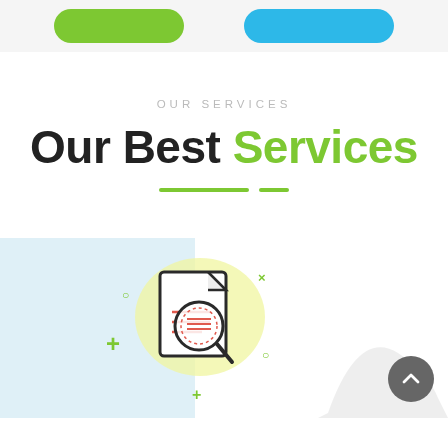[Figure (illustration): Top navigation bar with a green rounded button and a blue rounded button]
OUR SERVICES
Our Best Services
[Figure (illustration): Decorative green divider lines — one long and one short]
[Figure (illustration): Service card area: light blue card on left, white card on right, with a document-and-magnifying-glass icon centered at the boundary, decorative plus, circle, and x symbols around it, and a partially visible illustration on the far right. A grey scroll-to-top arrow button is in the bottom-right corner.]